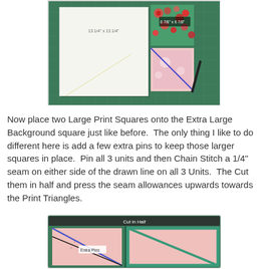[Figure (photo): Photo of quilting materials on a green cutting mat: a large white square fabric labeled '13 1/4" x 13 1/4"', and smaller floral print squares with one labeled '6 7/8" x 6 7/8"', along with a blue diagonal line drawn across the smaller squares and a pen/marker.]
Now place two Large Print Squares onto the Extra Large Background square just like before.  The only thing I like to do different here is add a few extra pins to keep those larger squares in place.  Pin all 3 units and then Chain Stitch a 1/4" seam on either side of the drawn line on all 3 Units.  The Cut them in half and press the seam allowances upwards towards the Print Triangles.
[Figure (photo): Photo showing quilting squares on a green cutting mat, labeled 'Cut in Half' at top, with arrows pointing to pins labeled 'Extra Pins', a diagonal line across the left square, and a teal border square on the right.]